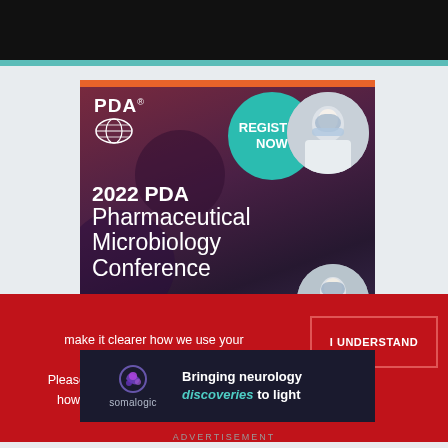[Figure (screenshot): Top black navigation bar of a website]
[Figure (advertisement): 2022 PDA Pharmaceutical Microbiology Conference advertisement with teal 'Register Now' circle, PDA logo, and photos of people in PPE on dark purple-red background]
make it clearer how we use your personal data. Please read our Cookie Policy to learn how we use cookies to provide you
I UNDERSTAND
[Figure (advertisement): Somalogic advertisement: 'Bringing neurology discoveries to light' on dark navy background with Somalogic logo]
ADVERTISEMENT